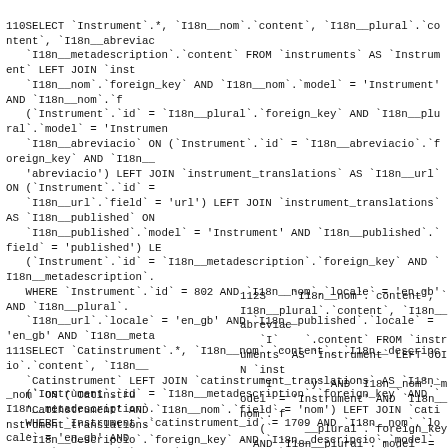110SELECT `Instrument`.*, `I18n__nom`.`content`, `I18n__plural`.`content`, `I18n__abreviacio`.`content` FROM `instruments` AS `Instrument` LEFT JOIN `instrument_translations` AS `I18n__nom` ON (`I18n__nom`.`foreign_key` AND `I18n__nom`.`model` = 'Instrument' AND `I18n__nom`... (`Instrument`.`id` = `I18n__plural`.`foreign_key` AND `I18n__plural`.`model` = 'Instrument') ... `I18n__abreviacio` ON (`Instrument`.`id` = `I18n__abreviacio`.`foreign_key` AND `I18n__... 'abreviacio') LEFT JOIN `instrument_translations` AS `I18n__url` ON (`Instrument`.`id` = ... `I18n__url`.`field` = 'url') LEFT JOIN `instrument_translations` AS `I18n__published` ON ... `I18n__published`.`model` = 'Instrument' AND `I18n__published`.`field` = 'published') LE... (`Instrument`.`id` = `I18n__metadescription`.`foreign_key` AND `I18n__metadescription`... WHERE `Instrument`.`id` = 802 AND `I18n__nom`.`locale` = 'en_gb' AND `I18n__plural`... `I18n__url`.`locale` = 'en_gb' AND `I18n__published`.`locale` = 'en_gb' AND `I18n__meta...
111SELECT `Catinstrument`.*, `I18n__nom`.`content`, `I18n__descripcio`.`content`, `I18n__... `Catinstrument` LEFT JOIN `catinstrument_translations` AS `I18n__nom` ON (`Catinstru... 'Catinstrument' AND `I18n__nom`.`field` = 'nom') LEFT JOIN `catinstrument_translations`... `I18n__descripcio`.`foreign_key` AND `I18n__descripcio`.`model` = 'Catinstrument' AND... `d`... `ns` AS `I18n__url` ON (`Catinstrument`.`id` = `I18n__url`.`foreig... `u`... `rument_translations` AS `I18n__published` ON (`Catinstrument`.... `o`... `n__published`.`field` = 'published') WHERE `Catinstrument`.`id`... `e`... `locale` = 'en_gb' AND `I18n__published`.`locale` = 'en_gb' LIMI...
[Figure (screenshot): Cookie consent overlay popup with dark background. Title: 'Cookies'. Body text: 'This site uses cookies to offer you the best user experience possible. In continuing to browse, you are consenting to accept both the aforementioned cookies and our cookies policy.']
112SELECT ... `I18n__nom`.`content`, `I18n__plural`.`content`, `I18n__abreviacio`... `.content` FROM `instruments` AS `Instrument` LEFT JOIN `inst`... `y` AND `I18n__nom`.`model` = 'Instrument' AND `I18n__nom`... (... `__plural`.`foreign_key` AND `I18n__plural`.`model` = 'Instrumen`... `I`... `Instrument`.`id` = `I18n__abreviacio`.`foreign_key` AND `I18n_`... `a`... `instrument_translations` AS `I18n__url` ON (`Instrument`.`id` =`... `I`... `LEFT JOIN `instrument_translations` AS `I18n__published` ON`... `I`... `el` = 'Instrument' AND `I18n__published`.`field` = 'published') LE... (`Instrument`.`id` = `I18n__metadescription`.`foreign_key` AND `I18n__metadescription`... WHERE `Instrument`.`catinstrument_id` = 1709 AND `I18n__nom`.`locale` = 'en_gb' AN... AND `I18n__url`.`locale` = 'en_gb' AND `I18n__published`.`locale` = 'en_gb' AND `I18n_...
113SELECT COUNT(DISTINCT(`Publicacion`.`id`)) AS count FROM `publicacions` AS `Pub`... (`Publicacion`.`id` = `PublicacionI18n`.`foreign_key` AND `PublicacionI18n`.`model` = ...